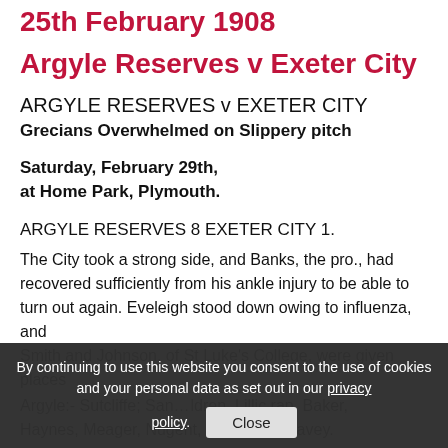25th February 1908
Argyle Reserves v Exeter City
ARGYLE RESERVES v EXETER CITY
Grecians Overwhelmed on Slippery pitch
Saturday, February 29th,
at Home Park, Plymouth.
ARGYLE RESERVES 8 EXETER CITY 1.
The City took a strong side, and Banks, the pro., had recovered sufficiently from his ankle injury to be able to turn out again. Eveleigh stood down owing to influenza, and Smith and Johnson, of St Luke's College, were given places
Argyle:- Sutcliffe; San... ldren, Lillic rap, Baker, Haynes, Meager, Nugent, Wheaton, Leavey.
By continuing to use this website you consent to the use of cookies and your personal data as set out in our privacy policy.
Close